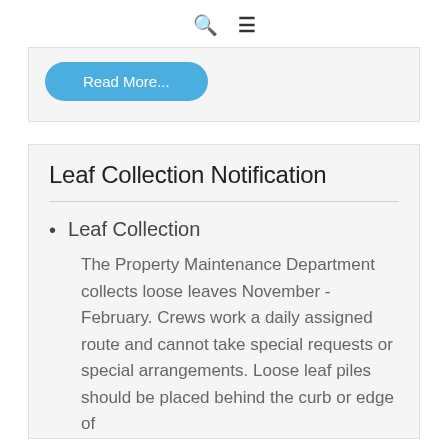🔍 ☰
[Figure (other): Blue rounded 'Read More...' button]
Leaf Collection Notification
Leaf Collection
The Property Maintenance Department collects loose leaves November - February. Crews work a daily assigned route and cannot take special requests or special arrangements. Loose leaf piles should be placed behind the curb or edge of